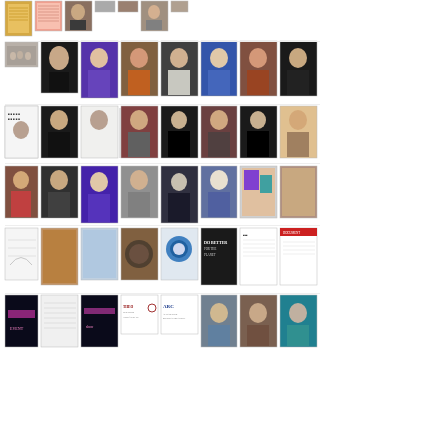[Figure (photo): Grid of thumbnail images arranged in rows: portraits, artworks, documents, logos. Row 1: yellow document, pink document, portrait, two small images, portrait, small image. Row 2: group photo, portrait woman, portrait man purple, portrait woman orange, portrait man dark, portrait man blue, portrait woman, portrait man dark. Row 3: man black jacket x3, man color, woman black x2, woman color, woman close-up. Row 4: woman red, man dark, man blue purple, man beard, woman glasses, woman white hair, artwork, artwork. Row 5: sketch, artwork brown, artwork blue, artwork dark globe, blue circular artwork, dark poster, white document, red document. Row 6: dark stage, document, dark stage, logos, logos, two portraits, portrait, teal portrait.]